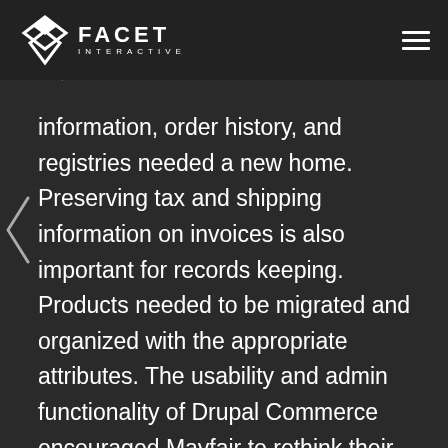FACET INTERACTIVE
Airstone focused on customer and product data. Customer account information, order history, and registries needed a new home. Preserving tax and shipping information on invoices is also important for records keeping. Products needed to be migrated and organized with the appropriate attributes. The usability and admin functionality of Drupal Commerce encouraged Mayfair to rethink their current product content strategy.